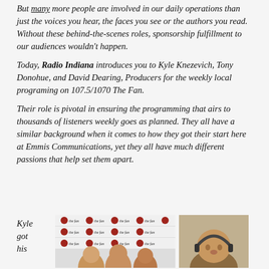But many more people are involved in our daily operations than just the voices you hear, the faces you see or the authors you read.  Without these behind-the-scenes roles, sponsorship fulfillment to our audiences wouldn't happen.
Today, Radio Indiana introduces you to Kyle Knezevich, Tony Donohue, and David Dearing, Producers for the weekly local programing on 107.5/1070 The Fan.
Their role is pivotal in ensuring the programming that airs to thousands of listeners weekly goes as planned. They all have a similar background when it comes to how they got their start here at Emmis Communications, yet they all have much different passions that help set them apart.
Kyle got his
[Figure (photo): Two photos: left photo shows a group of people in front of a 107.5/1070 The Fan branded banner/backdrop with repeated logos; right photo shows a person wearing headphones against a plain background.]